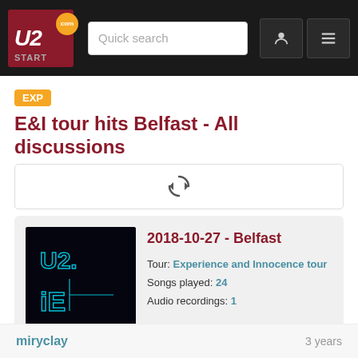U2.com START — Quick search — navigation icons
EXP   E&I tour hits Belfast - All discussions
[Figure (other): Loading spinner / refresh icon in a bordered box]
[Figure (other): U2 eXPERIENCE + iNNOCENCE tour album artwork thumbnail — dark background with U2 dot iE logo in cyan]
2018-10-27 - Belfast
Tour: Experience and Innocence tour
Songs played: 24
Audio recordings: 1
« previous 3 4 5 next »
miryclay   3 years